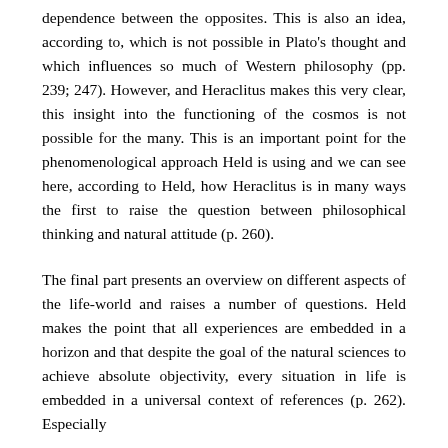dependence between the opposites. This is also an idea, according to, which is not possible in Plato's thought and which influences so much of Western philosophy (pp. 239; 247). However, and Heraclitus makes this very clear, this insight into the functioning of the cosmos is not possible for the many. This is an important point for the phenomenological approach Held is using and we can see here, according to Held, how Heraclitus is in many ways the first to raise the question between philosophical thinking and natural attitude (p. 260).
The final part presents an overview on different aspects of the life-world and raises a number of questions. Held makes the point that all experiences are embedded in a horizon and that despite the goal of the natural sciences to achieve absolute objectivity, every situation in life is embedded in a universal context of references (p. 262). Especially